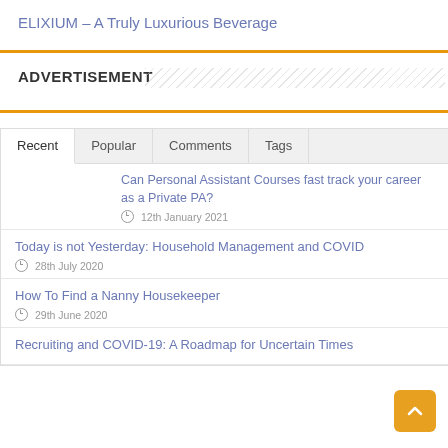ELIXIUM – A Truly Luxurious Beverage
ADVERTISEMENT
Recent | Popular | Comments | Tags
Can Personal Assistant Courses fast track your career as a Private PA? — 12th January 2021
Today is not Yesterday: Household Management and COVID — 28th July 2020
How To Find a Nanny Housekeeper — 29th June 2020
Recruiting and COVID-19: A Roadmap for Uncertain Times